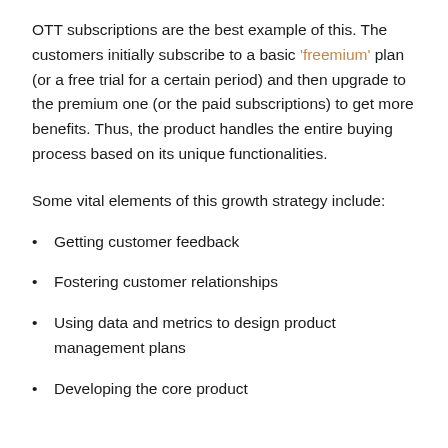OTT subscriptions are the best example of this. The customers initially subscribe to a basic 'freemium' plan (or a free trial for a certain period) and then upgrade to the premium one (or the paid subscriptions) to get more benefits. Thus, the product handles the entire buying process based on its unique functionalities.
Some vital elements of this growth strategy include:
Getting customer feedback
Fostering customer relationships
Using data and metrics to design product management plans
Developing the core product